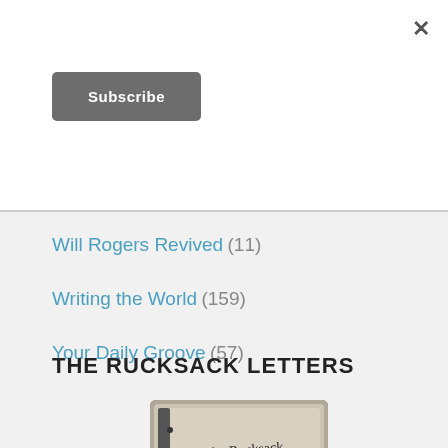×
Subscribe
Will Rogers Revived (11)
Writing the World (159)
Your Daily Groove (57)
THE RUCKSACK LETTERS
[Figure (photo): Book cover image showing handwritten text 'The Rucksack Letters']